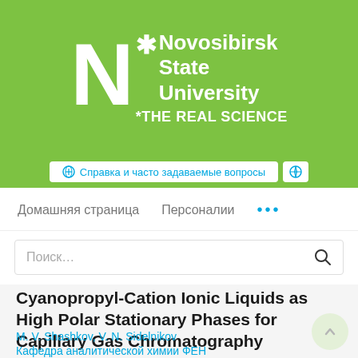[Figure (logo): Novosibirsk State University logo with green background, large white N, asterisk, and text 'Novosibirsk State University *THE REAL SCIENCE']
🌐 Справка и часто задаваемые вопросы
Домашняя страница   Персоналии   •••
Поиск…
Cyanopropyl-Cation Ionic Liquids as High Polar Stationary Phases for Capillary Gas Chromatography
M. V. Shashkov, V. N. Sidelnikov
Кафедра аналитической химии ФЕН